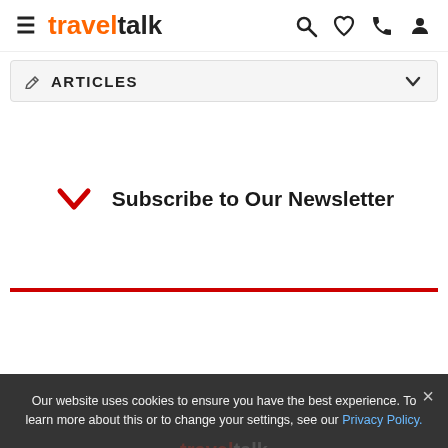traveltalk — navigation header with hamburger menu and icons
ARTICLES
Subscribe to Our Newsletter
Our website uses cookies to ensure you have the best experience. To learn more about this or to change your settings, see our Privacy Policy.
Accept  No